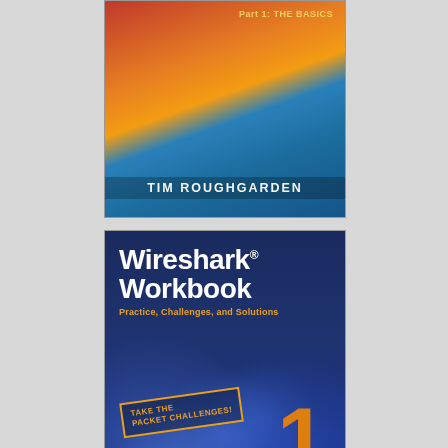[Figure (photo): Book cover: 'Part 1: The Basics' by Tim Roughgarden. Colorful abstract art cover with red, orange, yellow and blue tones.]
[Figure (photo): Book cover: 'Wireshark Workbook - Practice, Challenges, and Solutions' Volume 1 by Laura Chappell. Dark blue cover with bokeh circle lights and orange number 1. Published by Chappell University.]
[Figure (photo): Book cover: 'Windows Command Line' — partially visible at bottom of page, white background with blue text.]